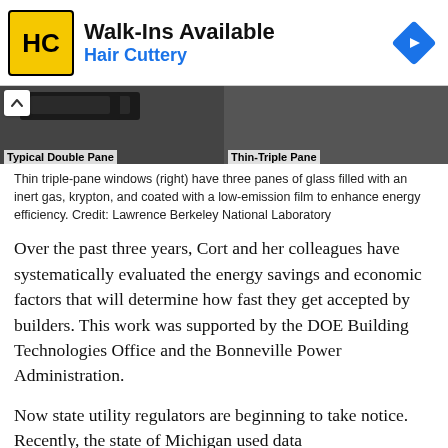[Figure (other): Hair Cuttery advertisement banner with logo, 'Walk-Ins Available' heading, and navigation arrow icon]
[Figure (photo): Side-by-side comparison photo of Typical Double Pane and Thin-Triple Pane window cross-sections against dark background]
Thin triple-pane windows (right) have three panes of glass filled with an inert gas, krypton, and coated with a low-emission film to enhance energy efficiency. Credit: Lawrence Berkeley National Laboratory
Over the past three years, Cort and her colleagues have systematically evaluated the energy savings and economic factors that will determine how fast they get accepted by builders. This work was supported by the DOE Building Technologies Office and the Bonneville Power Administration.
Now state utility regulators are beginning to take notice. Recently, the state of Michigan used data